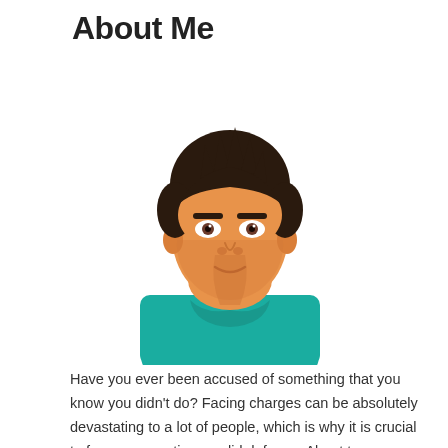About Me
[Figure (illustration): Cartoon illustration of a young man with dark spiky hair, wearing a teal/turquoise t-shirt, with a neutral expression, shown from the shoulders up on a white background.]
Have you ever been accused of something that you know you didn't do? Facing charges can be absolutely devastating to a lot of people, which is why it is crucial to focus on creating a solid defense. About ten years ago now, I was